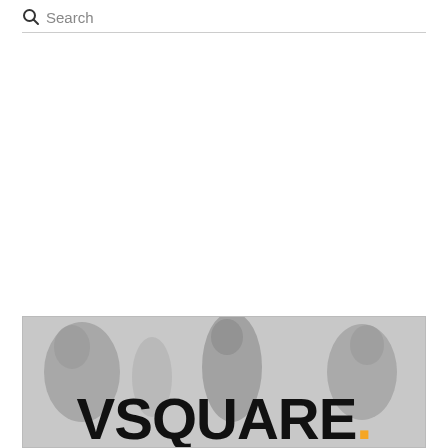Search
[Figure (logo): VSQUARE logo banner with grey background showing silhouetted figures and large bold text 'VSQUARE' with an orange dot]